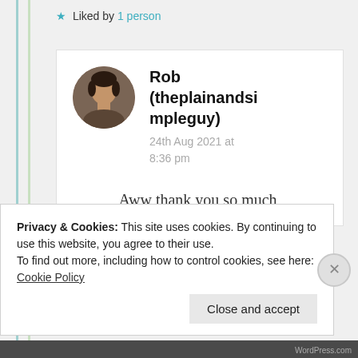★ Liked by 1 person
Rob (theplainandsimpleguy)
24th Aug 2021 at 8:36 pm
[Figure (photo): Circular avatar photo of Rob (theplainandsimpleguy), a person's face]
Aww thank you so much,
Privacy & Cookies: This site uses cookies. By continuing to use this website, you agree to their use.
To find out more, including how to control cookies, see here: Cookie Policy
Close and accept